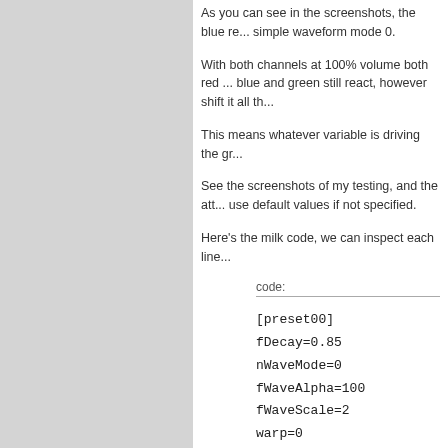As you can see in the screenshots, the blue re... simple waveform mode 0.
With both channels at 100% volume both red ... blue and green still react, however shift it all th...
This means whatever variable is driving the gr...
See the screenshots of my testing, and the att... use default values if not specified.
Here's the milk code, we can inspect each line...
code:
[preset00]
fDecay=0.85
nWaveMode=0
fWaveAlpha=100
fWaveScale=2
warp=0
wave_r=0